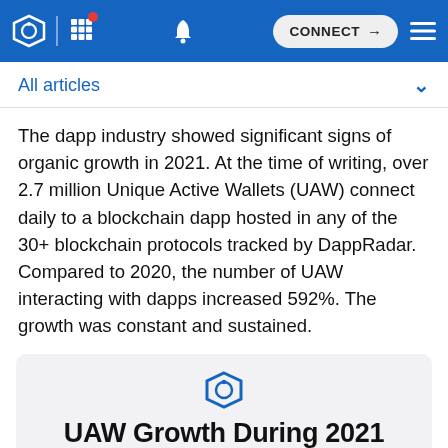Navigation bar with DappRadar logo, grid menu, notification bell, CONNECT button, and hamburger menu
All articles
The dapp industry showed significant signs of organic growth in 2021. At the time of writing, over 2.7 million Unique Active Wallets (UAW) connect daily to a blockchain dapp hosted in any of the 30+ blockchain protocols tracked by DappRadar. Compared to 2020, the number of UAW interacting with dapps increased 592%. The growth was constant and sustained.
[Figure (logo): DappRadar logo icon in blue with UAW Growth During 2021 title below it on a light gray card]
UAW Growth During 2021